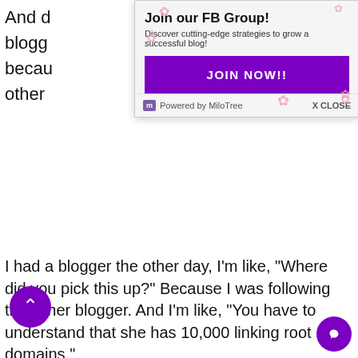And d[...] blogg[...] becau[...] other[...]
[Figure (screenshot): Popup overlay for a Facebook Group invite. Title: 'Join our FB Group!' Subtitle: 'Discover cutting-edge strategies to grow a successful blog!' Purple JOIN NOW!! button. Footer: 'Powered by MiloTree' and 'X CLOSE'. Pink flower decorations in background.]
I had a blogger the other day, I'm like, “Where did you pick this up?” Because I was following this other blogger. And I’m like, “You have to understand that she has 10,000 linking root domains.”
Jillian Leslie 27:26
What is that? Can you share what that means?
ey Markee 27:30
Yes, linking root domains. That’s how many